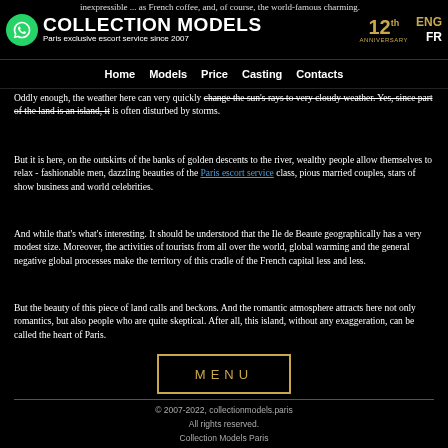COLLECTION MODELS — Paris exclusive escort service since 2007 | ENG FR
inexpressible ... as French coffee, and, of course, the world-famous charming.
Home  Models  Price  Casting  Contacts
Oddly enough, the weather here can very quickly change the sun's rays to very cloudy weather. Yes, since part of the land is an island, it is often disturbed by storms.
But it is here, on the outskirts of the banks of golden descents to the river, wealthy people allow themselves to relax - fashionable men, dazzling beauties of the Paris escort service class, pious married couples, stars of show business and world celebrities.
And while that's what's interesting. It should be understood that the Ile de Beaute geographically has a very modest size. Moreover, the activities of tourists from all over the world, global warming and the general negative global processes make the territory of this cradle of the French capital less and less.
But the beauty of this piece of land calls and beckons. And the romantic atmosphere attracts here not only romantics, but also people who are quite skeptical. After all, this island, without any exaggeration, can be called the heart of Paris.
[Figure (other): MENU button with gold border]
© 2007-2022, collectionmodels.paris
All rights reserved.
Collection Models Paris
66 avenue des Champs Elysees, 75008
Tel.: +33 77 367 0708
E-mail: reservation@collectionmodels.paris